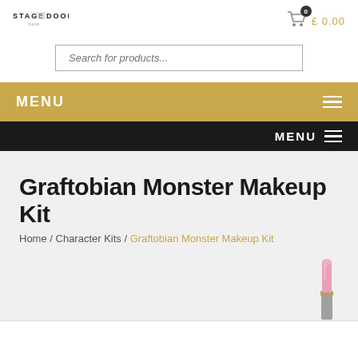STAGE DOOR · £ 0.00
Search for products...
MENU
MENU
Graftobian Monster Makeup Kit
Home / Character Kits / Graftobian Monster Makeup Kit
[Figure (illustration): Pink lipstick product image in bottom right corner]